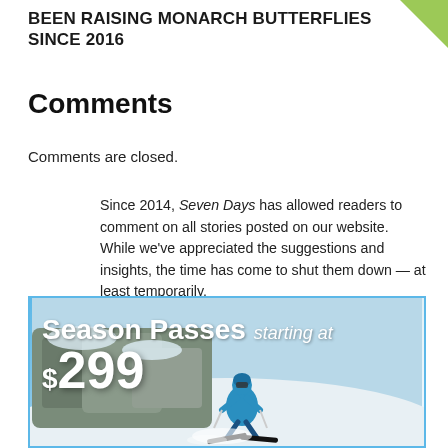BEEN RAISING MONARCH BUTTERFLIES SINCE 2016
Comments
Comments are closed.
Since 2014, Seven Days has allowed readers to comment on all stories posted on our website. While we've appreciated the suggestions and insights, the time has come to shut them down — at least temporarily.
While we champion free speech, facts are a matter of life and death during the coronavirus pandemic, and right now Seven Days is prioritizing the production of responsible journalism over
[Figure (photo): Advertisement banner for ski season passes. Text reads: Season Passes starting at $299. Shows a skier in blue jacket skiing down a snowy slope.]